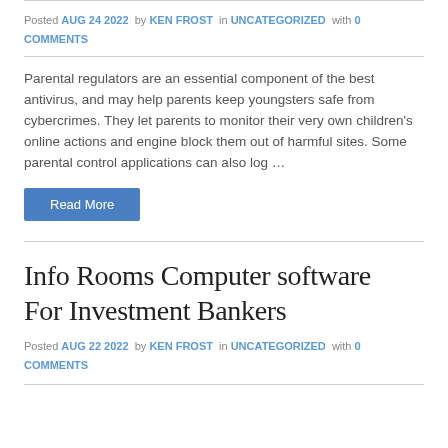Posted AUG 24 2022 by KEN FROST in UNCATEGORIZED with 0 COMMENTS
Parental regulators are an essential component of the best antivirus, and may help parents keep youngsters safe from cybercrimes. They let parents to monitor their very own children's online actions and engine block them out of harmful sites. Some parental control applications can also log …
Read More
Info Rooms Computer software For Investment Bankers
Posted AUG 22 2022 by KEN FROST in UNCATEGORIZED with 0 COMMENTS